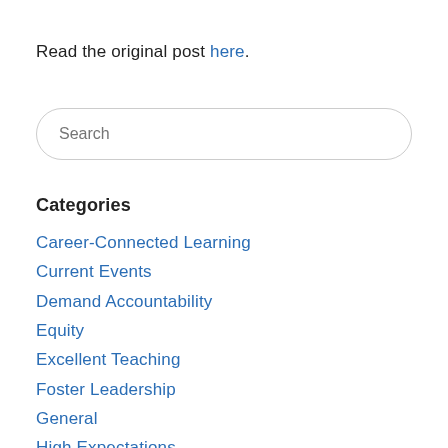Read the original post here.
Search
Categories
Career-Connected Learning
Current Events
Demand Accountability
Equity
Excellent Teaching
Foster Leadership
General
High Expectations
In The News
Invest Intelligently